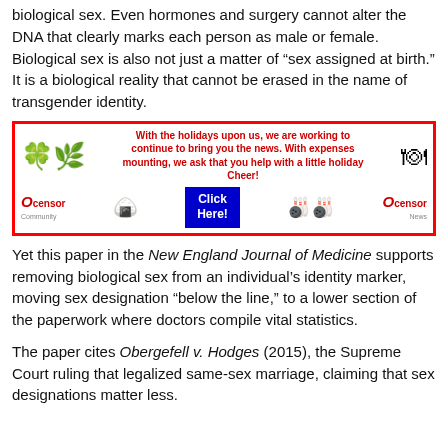biological sex. Even hormones and surgery cannot alter the DNA that clearly marks each person as male or female. Biological sex is also not just a matter of “sex assigned at birth.” It is a biological reality that cannot be erased in the name of transgender identity.
[Figure (infographic): Advertisement banner from Ocensor Community and Ocensor News with holiday imagery (holly, menorah, candy cane, dreidels) and text: 'With the holidays upon us, we are working to continue to bring you the news. With expenses mounting, we ask that you help with a little holiday Cheer!' with a blue 'Click Here!' button.]
Yet this paper in the New England Journal of Medicine supports removing biological sex from an individual’s identity marker, moving sex designation “below the line,” to a lower section of the paperwork where doctors compile vital statistics.
The paper cites Obergefell v. Hodges (2015), the Supreme Court ruling that legalized same-sex marriage, claiming that sex designations matter less.